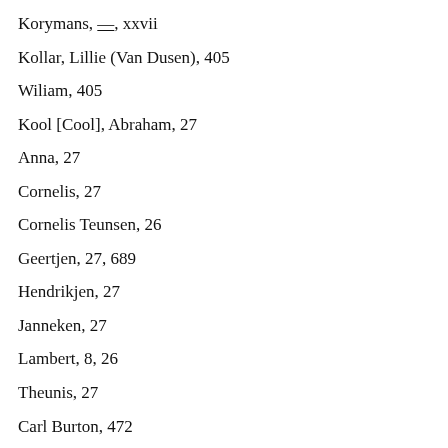Korymans, —, xxvii
Kollar, Lillie (Van Dusen), 405
Wiliam, 405
Kool [Cool], Abraham, 27
Anna, 27
Cornelis, 27
Cornelis Teunsen, 26
Geertjen, 27, 689
Hendrikjen, 27
Janneken, 27
Lambert, 8, 26
Theunis, 27
Carl Burton, 472
Ida Elnora (Van Dusen), 472